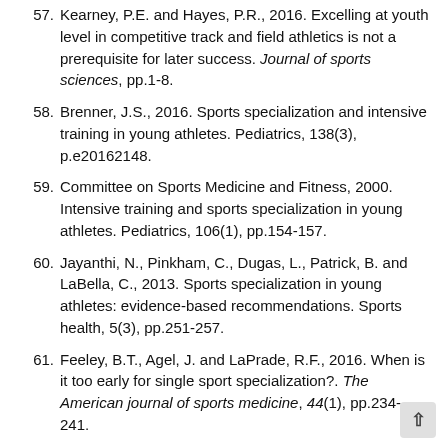57. Kearney, P.E. and Hayes, P.R., 2016. Excelling at youth level in competitive track and field athletics is not a prerequisite for later success. Journal of sports sciences, pp.1-8.
58. Brenner, J.S., 2016. Sports specialization and intensive training in young athletes. Pediatrics, 138(3), p.e20162148.
59. Committee on Sports Medicine and Fitness, 2000. Intensive training and sports specialization in young athletes. Pediatrics, 106(1), pp.154-157.
60. Jayanthi, N., Pinkham, C., Dugas, L., Patrick, B. and LaBella, C., 2013. Sports specialization in young athletes: evidence-based recommendations. Sports health, 5(3), pp.251-257.
61. Feeley, B.T., Agel, J. and LaPrade, R.F., 2016. When is it too early for single sport specialization?. The American journal of sports medicine, 44(1), pp.234-241.
62. LaPrade, R.F., Agel, J., Baker, J., Brenner, J.S., Cordasco, F.A., Côté, J., Engebretsen, L., Feeley, B.T., Gould, D., Hainline, B. and Hewett, T.E., 2016. AOSSM early sport specialization consensus statement. Orthopaedic journal of sports medicine,